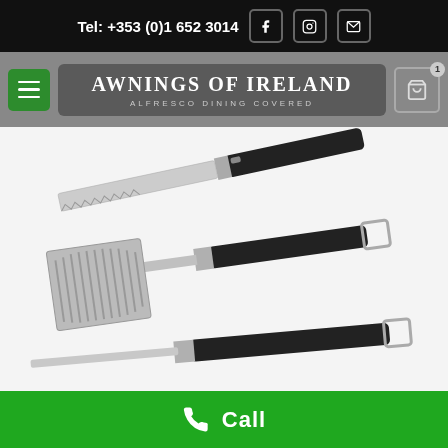Tel: +353 (0)1 652 3014
Awnings of Ireland — Alfresco Dining Covered
[Figure (photo): BBQ utensils set including a spatula with slotted head, a knife/chopper tool, and tongs, all with black handles and stainless steel construction, on white background]
Call